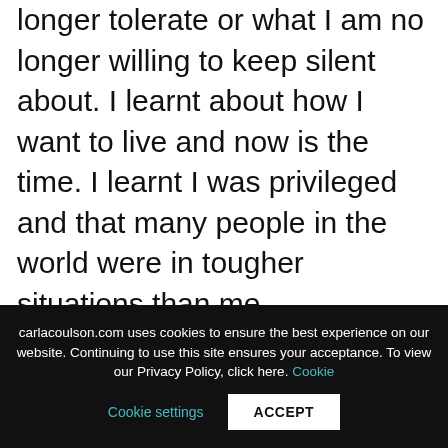longer tolerate or what I am no longer willing to keep silent about. I learnt about how I want to live and now is the time. I learnt I was privileged and that many people in the world were in tougher situations than me.

A part of me was happy for my discomfort, I knew somewhere amongst the angst there was magic and I didn't know exactly what it was but I have had enough tough times in
carlacoulson.com uses cookies to ensure the best experience on our website. Continuing to use this site ensures your acceptance. To view our Privacy Policy, click here. Cookie settings ACCEPT